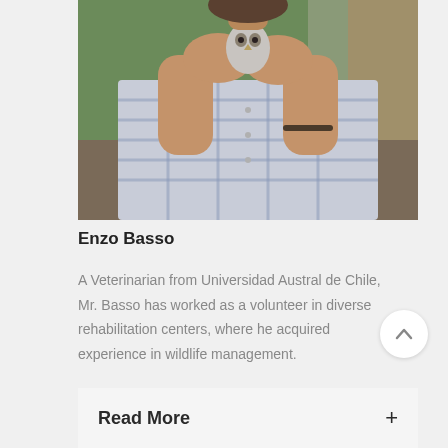[Figure (photo): A man in a blue plaid shirt holding a small grey bird (owl chick) against his chest, outdoors near trees]
Enzo Basso
A Veterinarian from Universidad Austral de Chile, Mr. Basso has worked as a volunteer in diverse rehabilitation centers, where he acquired experience in wildlife management.
Read More